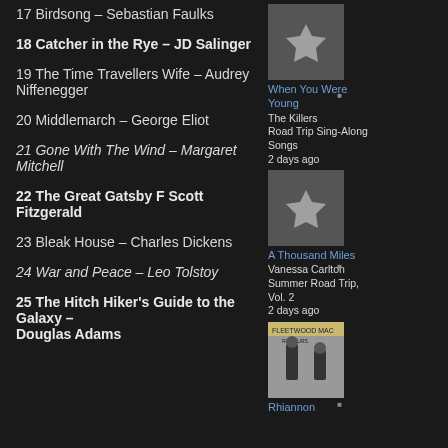17 Birdsong – Sebastian Faulks
18 Catcher in the Rye – JD Salinger
19 The Time Travellers Wife – Audrey Niffenegger
20 Middlemarch – George Eliot
21 Gone With The Wind – Margaret Mitchell
22 The Great Gatsby  F Scott Fitzgerald
23 Bleak House – Charles Dickens
24 War and Peace – Leo Tolstoy
25 The Hitch Hiker's Guide to the Galaxy – Douglas Adams
[Figure (illustration): Album art placeholder with star icon for When You Were Young by The Killers]
When You Were Young
The Killers
Road Trip Sing-Along Songs
2 days ago
[Figure (illustration): Album art placeholder with star icon for A Thousand Miles by Vanessa Carlton]
A Thousand Miles
Vanessa Carlton
Summer Road Trip, Vol. 2
2 days ago
[Figure (illustration): Fleetwood Mac Rumours album cover thumbnail]
Rhiannon